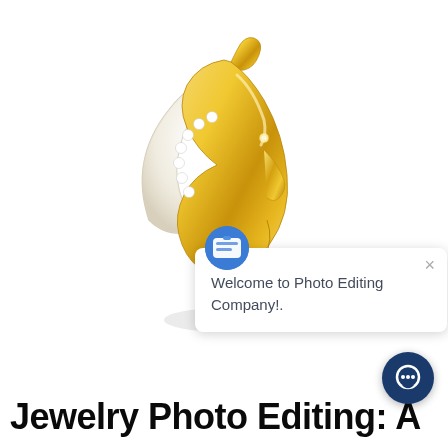[Figure (photo): Gold jewelry brooch shaped like a moon face profile with mother-of-pearl crescent and crystal rhinestone embellishments on white background]
Welcome to Photo Editing Company!.
Jewelry Photo Editing: A